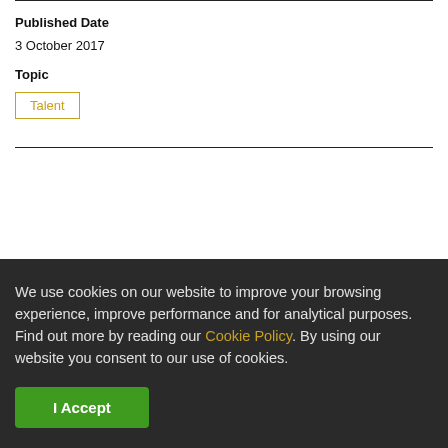Published Date
3 October 2017
Topic
Talent
We use cookies on our website to improve your browsing experience, improve performance and for analytical purposes. Find out more by reading our Cookie Policy. By using our website you consent to our use of cookies.
I Accept